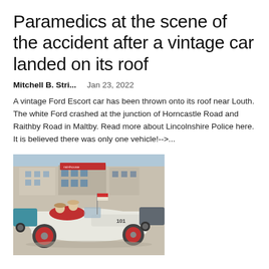Paramedics at the scene of the accident after a vintage car landed on its roof
Mitchell B. Stri...    Jan 23, 2022
A vintage Ford Escort car has been thrown onto its roof near Louth. The white Ford crashed at the junction of Horncastle Road and Raithby Road in Maltby. Read more about Lincolnshire Police here. It is believed there was only one vehicle!-->...
[Figure (photo): A vintage white open-top racing car numbered 101 with red wheel hubs, with passengers wearing period attire, parked in front of a building in a town setting with other vintage cars visible]
Your place: Vero International